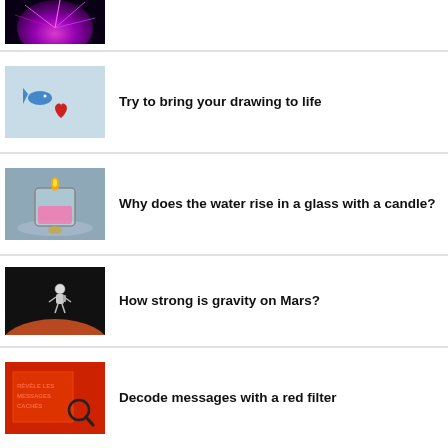[Figure (photo): Plasma ball with pink/purple electric arcs on dark background]
[Figure (photo): Two small figures (blue fish and red heart) on light blue background - drawing to life]
Try to bring your drawing to life
[Figure (photo): Glass beaker with pink liquid and a candle experiment setup]
Why does the water rise in a glass with a candle?
[Figure (photo): Astronaut floating in space with Mars planet surface below]
How strong is gravity on Mars?
[Figure (photo): Red filter message decoder - text REVELE LES MESSAGES CACHES with magnifying glass]
Decode messages with a red filter